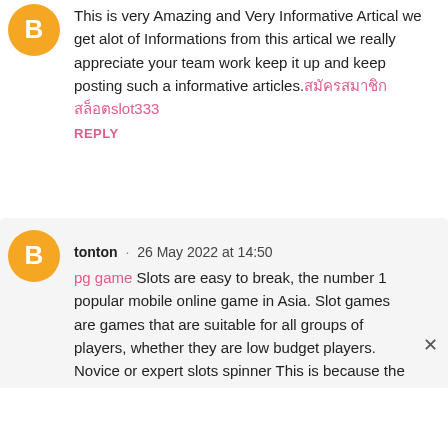This is very Amazing and Very Informative Artical we get alot of Informations from this artical we really appreciate your team work keep it up and keep posting such a informative articles. [Thai text]slot333
REPLY
tonton · 26 May 2022 at 14:50
pg game Slots are easy to break, the number 1 popular mobile online game in Asia. Slot games are games that are suitable for all groups of players, whether they are low budget players. Novice or expert slots spinner This is because the game has the simplest form of betting among online games.